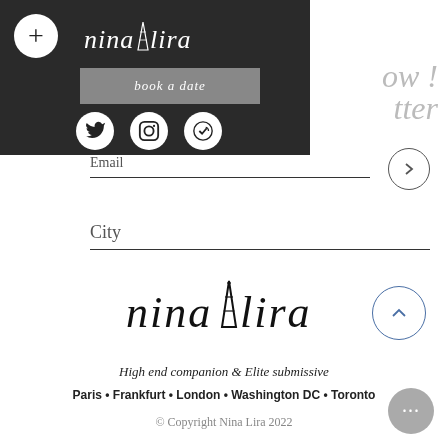[Figure (screenshot): Dark navigation overlay with plus button, nina lira logo, book a date button, and social media icons (Twitter, Instagram, and another icon)]
ow !
tter
Email
City
[Figure (logo): nina lira handwritten logo with Eiffel Tower]
High end companion & Elite submissive
Paris • Frankfurt • London • Washington DC • Toronto
© Copyright Nina Lira 2022